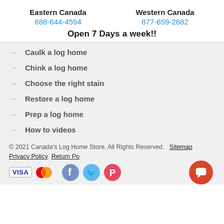Eastern Canada 888-644-4594 | Western Canada 877-659-2682
Open 7 Days a week!!
Caulk a log home
Chink a log home
Choose the right stain
Restore a log home
Prep a log home
How to videos
© 2021 Canada's Log Home Store. All Rights Reserved. Sitemap Privacy Policy Return Po